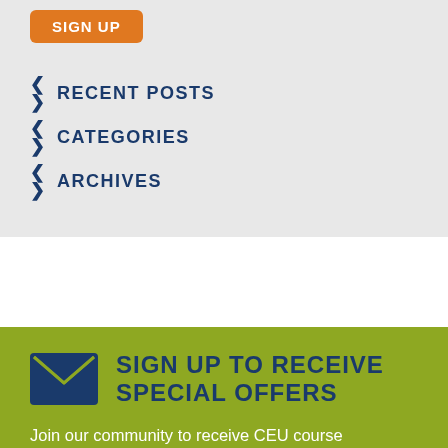[Figure (other): Orange SIGN UP button]
RECENT POSTS
CATEGORIES
ARCHIVES
SIGN UP TO RECEIVE SPECIAL OFFERS
Join our community to receive CEU course information to meet your professional development goals, hear the latest therapy tips, treatment ideas and connect with other therapists